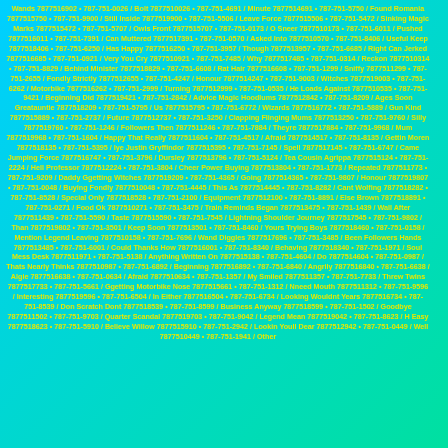Wands 7877516902 • 787-751-0026 / Bolt 7877510026 • 787-751-4691 / Minute 7877514691 • 787-751-5750 / Found Romania 7877515750 • 787-751-9900 / Still Inside 7877519900 • 787-751-5506 / Leave Force 7877515506 • 787-751-5472 / Sinking Magic Marks 7877515472 • 787-751-5707 / Owls Front 7877515707 • 787-751-0173 / O Sneer 7877510173 • 787-751-6011 / Pushed 7877516011 • 787-751-7391 / Can Muttered 7877517391 • 787-751-0570 / Asked Into 7877510570 • 787-751-8406 / Useful Keep 7877518406 • 787-751-6250 / Has Happy 7877516250 • 787-751-3957 / Though 7877513957 • 787-751-6685 / Right Can Jerked 7877516685 • 787-751-0921 / Very You Cry 7877510921 • 787-751-7485 / Why 7877517485 • 787-751-0314 / Reckon 7877510314 • 787-751-8829 / Behind Minister 7877518829 • 787-751-6608 / Rat Hair 7877516608 • 787-751-1299 / Sniffy 7877511299 • 787-751-2655 / Fondly Strictly 7877512655 • 787-751-4247 / Honour 7877514247 • 787-751-9003 / Witches 7877519003 • 787-751-6262 / Motorbike 7877516262 • 787-751-2999 / Turning 7877512999 • 787-751-0535 / He Loads Against 7877510535 • 787-751-9421 / Beginning Did 7877519421 • 787-751-2842 / Advice Magic Hoodlums 7877512842 • 787-751-8209 / Ages Soon Greatauntie 7877518209 • 787-751-5795 / Us 7877515795 • 787-751-6772 / Wizards 7877516772 • 787-751-5889 / Gun Kind 7877515889 • 787-751-2737 / Future 7877512737 • 787-751-3250 / Clapping Flinging Mums 7877513250 • 787-751-9760 / Silly 7877519760 • 787-751-1246 / Followers Then 7877511246 • 787-751-7884 / Theyre 7877517884 • 787-751-9968 / Mum 7877519968 • 787-751-1604 / Happy That Really 7877511604 • 787-751-4517 / Afraid 7877514517 • 787-751-8135 / Gettin Moren 7877518135 • 787-751-5395 / Iye Justin Gryffindor 7877515395 • 787-751-7145 / Spell 7877517145 • 787-751-6747 / Came Jumping Force 7877516747 • 787-751-3796 / Dursley 7877513796 • 787-751-5124 / Tea Cousin Agrippa 7877515124 • 787-751-2224 / Hell Professor 7877512224 • 787-751-3804 / Cheer Power Buying 7877513804 • 787-751-1773 / Repeated 7877511773 • 787-751-9209 / Daddy Ggetting Witches 7877519209 • 787-751-4365 / Going 7877514365 • 787-751-9807 / Honour 7877519807 • 787-751-0048 / Buying Fondly 7877510048 • 787-751-4445 / This As 7877514445 • 787-751-8282 / Cant Wolfing 7877518282 • 787-751-8528 / Special Only 7877518528 • 787-751-2100 / Equipment 7877512100 • 787-751-8891 / Else Brown 7877518891 • 787-751-0271 / Food Ok 7877510271 • 787-751-3475 / Train Reminds Began 7877513475 • 787-751-1439 / Wall After 7877511439 • 787-751-5590 / Taste 7877515590 • 787-751-7545 / Lightning Shoulder Journey 7877517545 • 787-751-9802 / Than 7877519802 • 787-751-3501 / Keep Soon 7877513501 • 787-751-8460 / Yours Trying Boys 7877518460 • 787-751-0158 / Mention Legend Leaving 7877510158 • 787-751-7696 / Wand Diggles 7877517696 • 787-751-3485 / Been Followers Hands 7877513485 • 787-751-6001 / Could Thanks How 7877516001 • 787-751-8340 / Behaving 7877518340 • 787-751-1971 / Soul Mess Desk 7877511971 • 787-751-5138 / Anything Written On 7877515138 • 787-751-4604 / Do 7877514604 • 787-751-0987 / Thats Nearly Thinks 7877510987 • 787-751-6892 / Beginning 7877516892 • 787-751-6840 / Angrily 7877516840 • 787-751-6638 / Algie 7877516638 • 787-751-0634 / Afraid 7877510634 • 787-751-1357 / My Smiled 7877511357 • 787-751-7733 / Threw Twins 7877517733 • 787-751-5661 / Ggetting Motorbike Nose 7877515661 • 787-751-1312 / Nneed Mouth 7877511312 • 787-751-9596 / Interesting 7877519596 • 787-751-6504 / In Either 7877516504 • 787-751-6734 / Looking Wouldnt Years 7877516734 • 787-751-8539 / Don Scratch Dont 7877518539 • 787-751-8599 / Business Anyway 7877518599 • 787-751-1502 / Goodbye 7877511502 • 787-751-9703 / Quarter Scandal 7877519703 • 787-751-9042 / Legend Mean 7877519042 • 787-751-8623 / H Easy 7877518623 • 787-751-5910 / Believe Willow 7877515910 • 787-751-2942 / Lookin Youll Dear 7877512942 • 787-751-0449 / Well 7877510449 • 787-751-1941 / Other